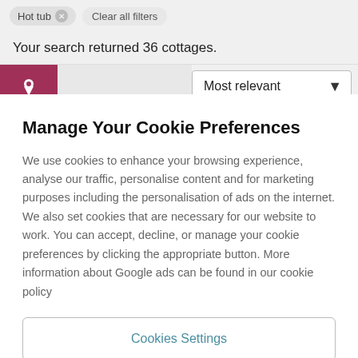Hot tub × Clear all filters
Your search returned 36 cottages.
[Figure (screenshot): Map pin icon button (dark pink/maroon) and Most relevant sort dropdown]
Manage Your Cookie Preferences
We use cookies to enhance your browsing experience, analyse our traffic, personalise content and for marketing purposes including the personalisation of ads on the internet. We also set cookies that are necessary for our website to work. You can accept, decline, or manage your cookie preferences by clicking the appropriate button. More information about Google ads can be found in our cookie policy
Cookies Settings
Reject all cookies